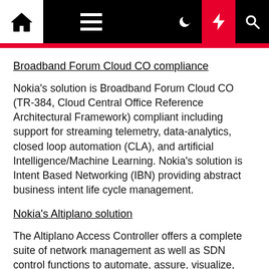Navigation bar with home, menu, dark mode, flash, and search icons
Broadband Forum Cloud CO compliance
Nokia's solution is Broadband Forum Cloud CO (TR-384, Cloud Central Office Reference Architectural Framework) compliant including support for streaming telemetry, data-analytics, closed loop automation (CLA), and artificial Intelligence/Machine Learning. Nokia's solution is Intent Based Networking (IBN) providing abstract business intent life cycle management.
Nokia's Altiplano solution
The Altiplano Access Controller offers a complete suite of network management as well as SDN control functions to automate, assure, visualize, optimize, and enhance broadband networks. Altiplano automates network lifecycle management